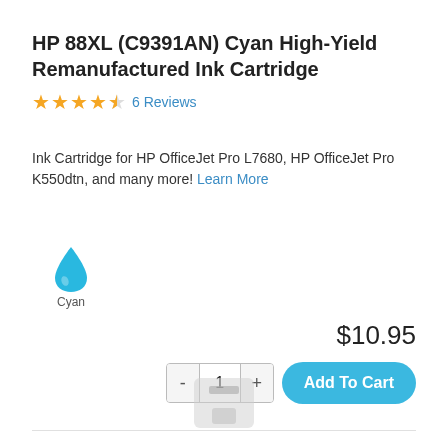HP 88XL (C9391AN) Cyan High-Yield Remanufactured Ink Cartridge
★★★★½ 6 Reviews
Ink Cartridge for HP OfficeJet Pro L7680, HP OfficeJet Pro K550dtn, and many more! Learn More
[Figure (illustration): Cyan ink droplet icon with label 'Cyan' below it]
$10.95
- 1 + Add To Cart
[Figure (photo): Partial view of an HP ink cartridge at the bottom of the page]